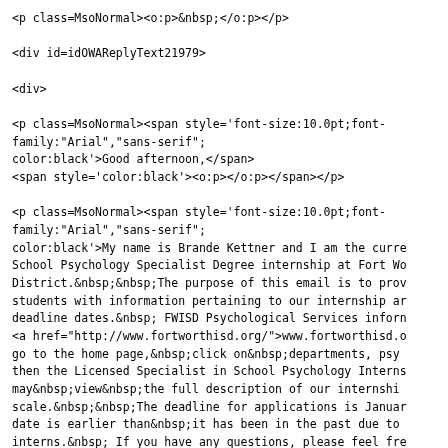<p class=MsoNormal><o:p>&nbsp;</o:p></p>

<div id=idOWAReplyText21979>

<div>

<p class=MsoNormal><span style='font-size:10.0pt;font-family:"Arial","sans-serif";color:black'>Good afternoon,</span>
<span style='color:black'><o:p></o:p></span></p>

<p class=MsoNormal><span style='font-size:10.0pt;font-family:"Arial","sans-serif";color:black'>My name is Brande Kettner and I am the curre School Psychology Specialist Degree internship at Fort Wo District.&nbsp;&nbsp;The purpose of this email is to prov students with information pertaining to our internship ar deadline dates.&nbsp; FWISD Psychological Services inforn <a href="http://www.fortworthisd.org/">www.fortworthisd.o go to the home page,&nbsp;click on&nbsp;departments, psy then the Licensed Specialist in School Psychology Intern may&nbsp;view&nbsp;the full description of our internshi scale.&nbsp;&nbsp;The deadline for applications is Januar date is earlier than&nbsp;it has been in the past due to interns.&nbsp; If you have any questions, please feel fre Thank you for your time.&nbsp;</span><o:p></o:p></p>

</div>

<div>